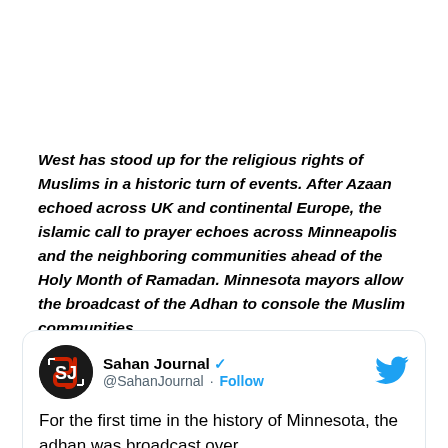West has stood up for the religious rights of Muslims in a historic turn of events. After Azaan echoed across UK and continental Europe, the islamic call to prayer echoes across Minneapolis and the neighboring communities ahead of the Holy Month of Ramadan. Minnesota mayors allow the broadcast of the Adhan to console the Muslim communities.
[Figure (screenshot): Tweet card from Sahan Journal (@SahanJournal) with blue verified checkmark and Follow button. Tweet text begins: 'For the first time in the history of Minnesota, the adhan was broadcast over']